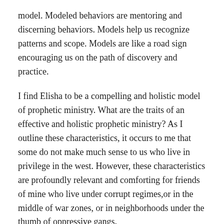model. Modeled behaviors are mentoring and discerning behaviors. Models help us recognize patterns and scope. Models are like a road sign encouraging us on the path of discovery and practice.
I find Elisha to be a compelling and holistic model of prophetic ministry. What are the traits of an effective and holistic prophetic ministry? As I outline these characteristics, it occurs to me that some do not make much sense to us who live in privilege in the west. However, these characteristics are profoundly relevant and comforting for friends of mine who live under corrupt regimes,or in the middle of war zones, or in neighborhoods under the thumb of oppressive gangs.
Healed the environment. I'm intrigued by this. The men of Jerico expressed their concern to Elisha about the bad water in the area. It limited the potential of their otherwise pleasant situation. Elisha prophesied healing to the water. (2 Kings 2:19-